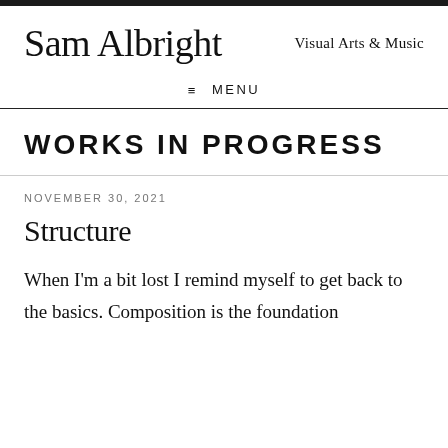Sam Albright — Visual Arts & Music
WORKS IN PROGRESS
NOVEMBER 30, 2021
Structure
When I'm a bit lost I remind myself to get back to the basics. Composition is the foundation